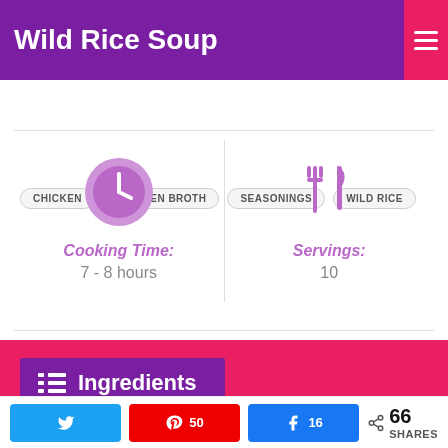Wild Rice Soup
CHICKEN
CHICKEN BROTH
SEASONINGS
WILD RICE
Cooking Time: 7 - 8 hours
Servings: 10
Ingredients
50  16  66 SHARES